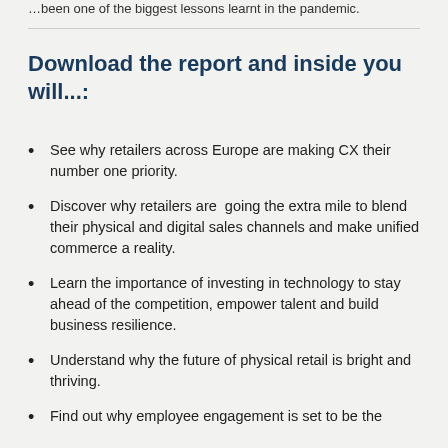…been one of the biggest lessons learnt in the pandemic.
Download the report and inside you will...:
See why retailers across Europe are making CX their number one priority.
Discover why retailers are going the extra mile to blend their physical and digital sales channels and make unified commerce a reality.
Learn the importance of investing in technology to stay ahead of the competition, empower talent and build business resilience.
Understand why the future of physical retail is bright and thriving.
Find out why employee engagement is set to be the…